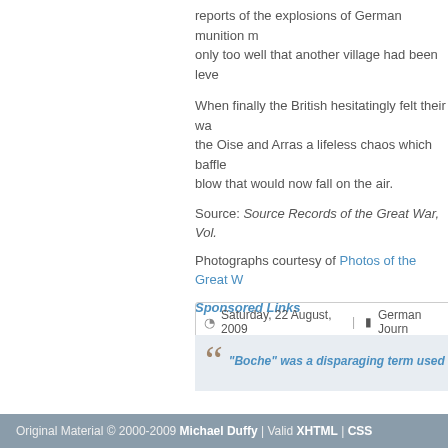reports of the explosions of German munition m... only too well that another village had been leve...
When finally the British hesitatingly felt their wa... the Oise and Arras a lifeless chaos which baffle... blow that would now fall on the air.
Source: Source Records of the Great War, Vol....
Photographs courtesy of Photos of the Great W...
Sponsored Links
Saturday, 22 August, 2009  |  German Journ...
"Boche" was a disparaging term used...
Original Material © 2000-2009 Michael Duffy | Valid XHTML | CSS